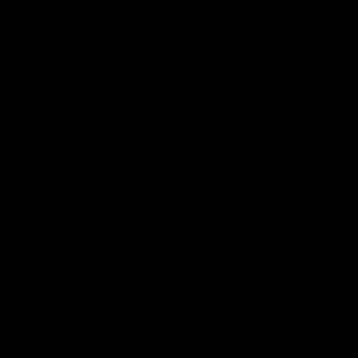Fonts, as well as pictures for all kinds of children's annuals, and much of his best work coloured comic pictures, Playtime (1919-), as well as being the cover-artist, he drew double-page strips, Coral Island, or Jungle Friends, reminiscent of M and the Bruin Books illustrated many books, including Fairy Tales (1904), Swiss Family Robinson (1907), My Book of Fairy Tales (c. 19), Fables (1924), and Carroll's Alice's Adventures in Wonderland and Through the Looking-Glass. His distinctive art of rabbits and mice became famous in a long